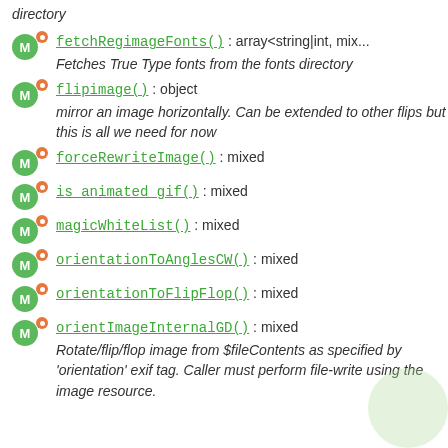directory
fetchRegimageFonts() : array<string|int, mix...  Fetches True Type fonts from the fonts directory
flipimage() : object  mirror an image horizontally. Can be extended to other flips but this is all we need for now
forceRewriteImage() : mixed
is_animated_gif() : mixed
magicWhiteList() : mixed
orientationToAnglesCW() : mixed
orientationToFlipFlop() : mixed
orientImageInternalGD() : mixed  Rotate/flip/flop image from $fileContents as specified by 'orientation' exif tag. Caller must perform file-write using the image resource.